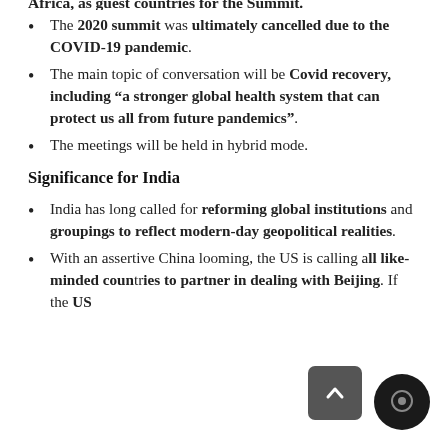The 2020 summit was ultimately cancelled due to the COVID-19 pandemic.
The main topic of conversation will be Covid recovery, including “a stronger global health system that can protect us all from future pandemics”.
The meetings will be held in hybrid mode.
Significance for India
India has long called for reforming global institutions and groupings to reflect modern-day geopolitical realities.
With an assertive China looming, the US is calling all like-minded countries to partner in dealing with Beijing. If the US